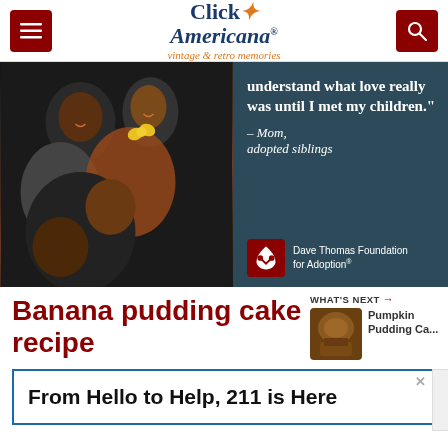Click Americana — vintage & retro memories
[Figure (photo): Dave Thomas Foundation for Adoption advertisement. Left half shows a photo of a Black family — a man, woman, and two children — smiling together. Right half on dark teal background shows quote: 'understand what love really was until I met my children.' — Mom, adopted siblings. Dave Thomas Foundation for Adoption logo shown.]
Banana pudding cake recipe
[Figure (photo): Thumbnail image of a pumpkin pudding cake, with 'WHAT'S NEXT' label and text 'Pumpkin Pudding Ca...']
From Hello to Help, 211 is Here